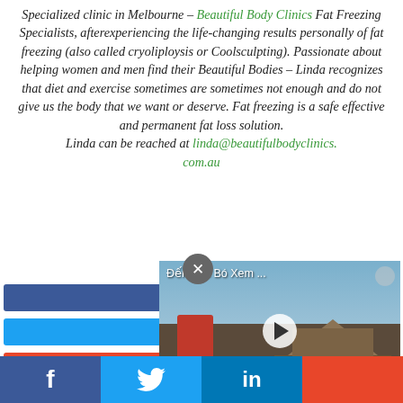Specialized clinic in Melbourne – Beautiful Body Clinics Fat Freezing Specialists, afterexperiencing the life-changing results personally of fat freezing (also called cryoliploysis or Coolsculpting). Passionate about helping women and men find their Beautiful Bodies – Linda recognizes that diet and exercise sometimes are sometimes not enough and do not give us the body that we want or deserve. Fat freezing is a safe effective and permanent fat loss solution. Linda can be reached at linda@beautifulbodyclinics.com.au
[Figure (screenshot): Social share buttons (Facebook, Twitter) and a video overlay thumbnail with Vietnamese text 'Đến Pác Bó Xem ...' and a play button. Bottom social bar with Facebook, Twitter, LinkedIn icons.]